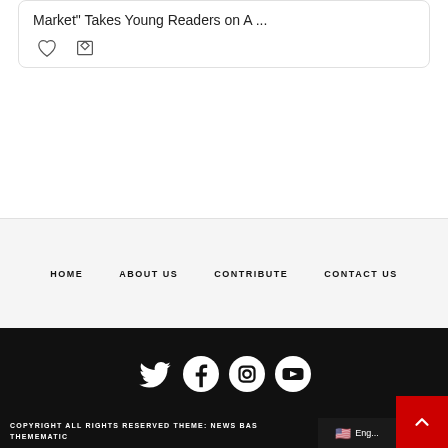Market" Takes Young Readers on A ...
HOME   ABOUT US   CONTRIBUTE   CONTACT US
[Figure (other): Social media icons: Twitter, Facebook, Instagram, YouTube on black background]
COPYRIGHT ALL RIGHTS RESERVED THEME: NEWS BASED THEMEMATIC